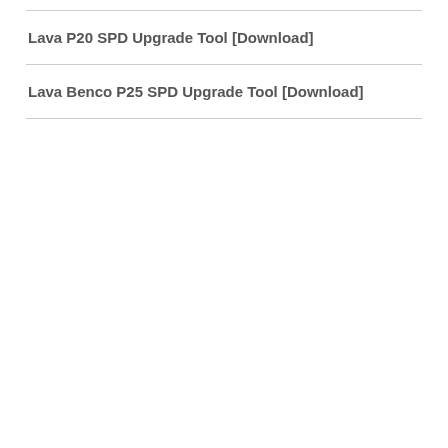Lava P20 SPD Upgrade Tool [Download]
Lava Benco P25 SPD Upgrade Tool [Download]